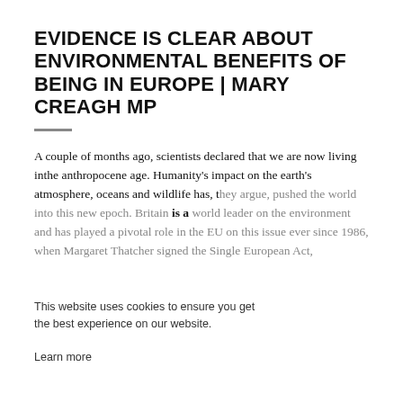EVIDENCE IS CLEAR ABOUT ENVIRONMENTAL BENEFITS OF BEING IN EUROPE | MARY CREAGH MP
A couple of months ago, scientists declared that we are now living in the anthropocene age. Humanity's impact on the earth's atmosphere, oceans and wildlife has, they argue, pushed the world into this new epoch. Britain is a world leader on the environment and has played a pivotal role in the EU on this issue ever since 1986, when Margaret Thatcher signed the Single European Act, which established the EU's competence in this area. If we are to play our part in ensuring a green future for the UK, we must remain in the EU.
Yet the impact that leaving the EU would have on the